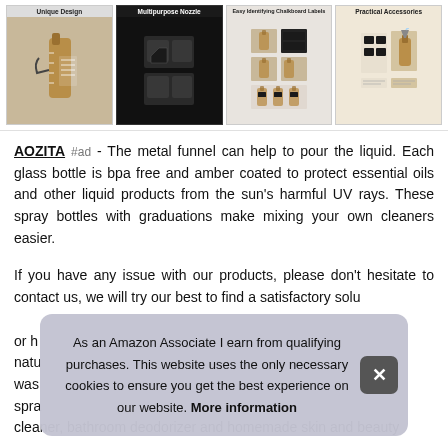[Figure (photo): Four product image panels showing: 1) Unique Design - amber spray bottle with graduations and bullet points, 2) Multipurpose Nozzle - black trigger spray nozzle on dark background, 3) Easy Identifying Chalkboard Labels - bottles with chalkboard labels, 4) Practical Accessories - amber bottle with metal funnel and accessories]
AOZITA #ad - The metal funnel can help to pour the liquid. Each glass bottle is bpa free and amber coated to protect essential oils and other liquid products from the sun's harmful UV rays. These spray bottles with graduations make mixing your own cleaners easier.
If you have any issue with our products, please don't hesitate to contact us, we will try our best to find a satisfactory solu... or h... natu... was... spra...
As an Amazon Associate I earn from qualifying purchases. This website uses the only necessary cookies to ensure you get the best experience on our website. More information
cleaner, bathroom deodorizer and homemade skin and beauty...